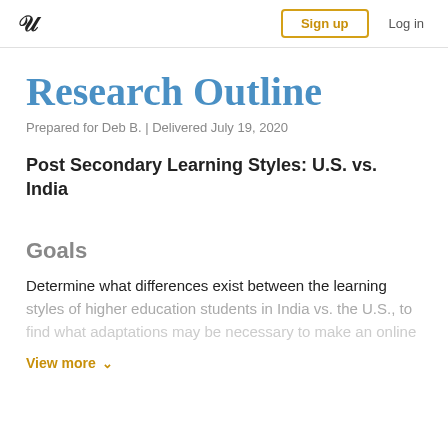W | Sign up | Log in
Research Outline
Prepared for Deb B. | Delivered July 19, 2020
Post Secondary Learning Styles: U.S. vs. India
Goals
Determine what differences exist between the learning styles of higher education students in India vs. the U.S., to find what adaptations may be necessary to make an online
View more ∨